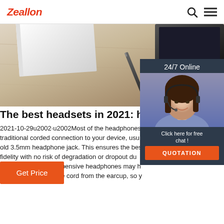Zeallon
[Figure (photo): Hero banner showing a desk with a notebook, pen, and dark device/monitor in the background, warm wood-tone surface]
[Figure (photo): 24/7 Online chat widget overlay with photo of smiling woman wearing headset, Click here for free chat, QUOTATION button]
The best headsets in 2021: headphones with
2021-10-29u2002·u2002Most of the headphones on [this list] use a traditional corded connection to your device, usually via the tried-and-old 3.5mm headphone jack. This ensures the best possible audio fidelity with no risk of degradation or dropout due to wireless interference. More expensive headphones may have the ability to unplug the headphone cord from the earcup, so y
Get Price